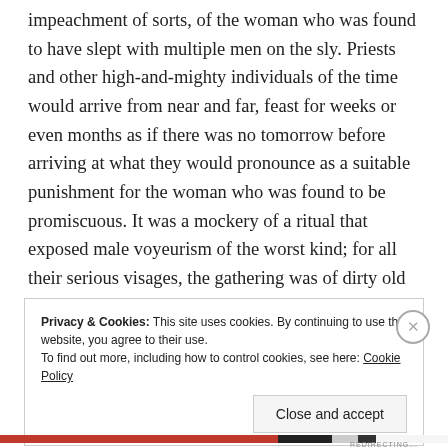impeachment of sorts, of the woman who was found to have slept with multiple men on the sly. Priests and other high-and-mighty individuals of the time would arrive from near and far, feast for weeks or even months as if there was no tomorrow before arriving at what they would pronounce as a suitable punishment for the woman who was found to be promiscuous. It was a mockery of a ritual that exposed male voyeurism of the worst kind; for all their serious visages, the gathering was of dirty old men, and all they wanted was to hear from the horse's mouth who did what to her.
Privacy & Cookies: This site uses cookies. By continuing to use this website, you agree to their use.
To find out more, including how to control cookies, see here: Cookie Policy
Close and accept